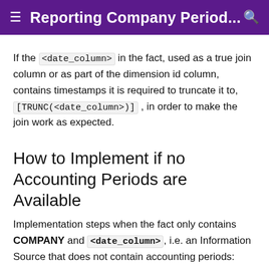Reporting Company Period...
If the <date_column> in the fact, used as a true join column or as part of the dimension id column, contains timestamps it is required to truncate it to, [TRUNC(<date_column>)] , in order to make the join work as expected.
How to Implement if no Accounting Periods are Available
Implementation steps when the fact only contains COMPANY and <date_column>, i.e. an Information Source that does not contain accounting periods:
1. Create the fact items